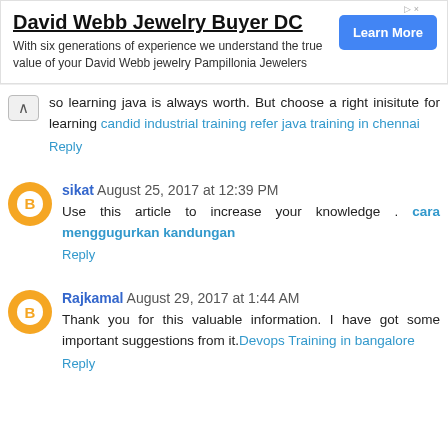[Figure (other): Advertisement banner for David Webb Jewelry Buyer DC with Learn More button]
so learning java is always worth. But choose a right inisitute for learning candid industrial training refer java training in chennai
Reply
sikat August 25, 2017 at 12:39 PM
Use this article to increase your knowledge . cara menggugurkan kandungan
Reply
Rajkamal August 29, 2017 at 1:44 AM
Thank you for this valuable information. I have got some important suggestions from it.Devops Training in bangalore
Reply